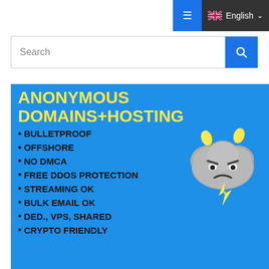☰  🇬🇧 English ▾
Search
[Figure (infographic): Blue background advertisement banner for Anonymous Domains+Hosting service. Yellow bold title text: ANONYMOUS DOMAINS+HOSTING. Black bold bullet list: BULLETPROOF, OFFSHORE, NO DMCA, FREE DDOS PROTECTION, STREAMING OK, BULK EMAIL OK, DED., VPS, SHARED, CRYPTO FRIENDLY. An angry storm cloud cartoon with yellow devil horns and a yellow lightning bolt on the right side.]